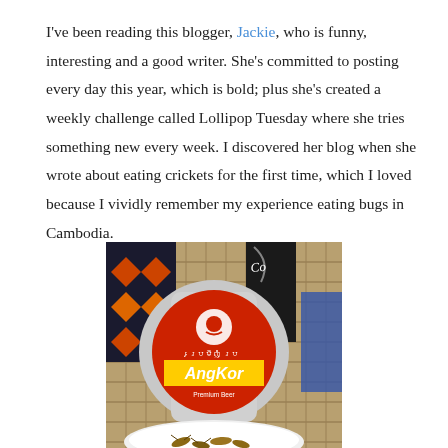I've been reading this blogger, Jackie, who is funny, interesting and a good writer. She's committed to posting every day this year, which is bold; plus she's created a weekly challenge called Lollipop Tuesday where she tries something new every week. I discovered her blog when she wrote about eating crickets for the first time, which I loved because I vividly remember my experience eating bugs in Cambodia.
[Figure (photo): A photo showing an Angkor Premium Beer can/label prominently in the foreground, with a plate of crickets/bugs partially visible at the bottom, and a Coca-Cola bottle and woven textile in the background on a wicker surface.]